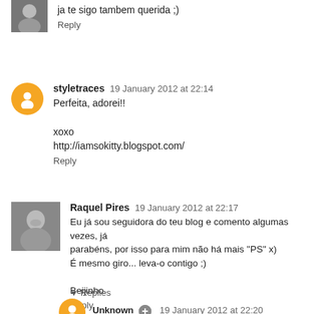ja te sigo tambem querida ;)
Reply
styletraces 19 January 2012 at 22:14
Perfeita, adorei!!

xoxo
http://iamsokitty.blogspot.com/
Reply
Raquel Pires 19 January 2012 at 22:17
Eu já sou seguidora do teu blog e comento algumas vezes, já parabéns, por isso para mim não há mais "PS" x)
É mesmo giro... leva-o contigo ;)

Beijinho
Reply
▾ Replies
Unknown 19 January 2012 at 22:20